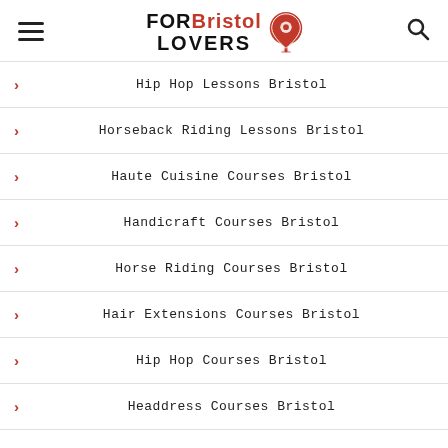FOR Bristol LOVERS
Hip Hop Lessons Bristol
Horseback Riding Lessons Bristol
Haute Cuisine Courses Bristol
Handicraft Courses Bristol
Horse Riding Courses Bristol
Hair Extensions Courses Bristol
Hip Hop Courses Bristol
Headdress Courses Bristol